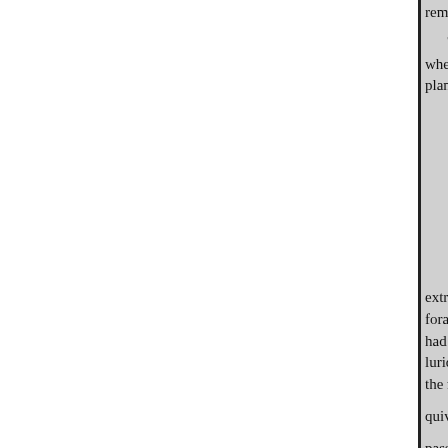remembrance."' others. He not m
The feuds and quarrels that de where naturally the subject of th plans and I began to form acquai
extract will show. It also brings o forauthor, who seems to have be had Roman Catholic-certainly a lurid holds by the most comforta the mansion
quivered, and all was still. Twent
passed into the eternity into whic about to thrust others, and the re struction at their heels, Hed in w
"It was morn when I approach with magistrates and police, attra more especially the thunder of th ing in. Every one set to work, an